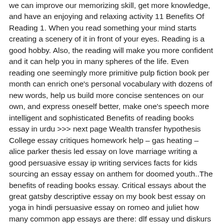we can improve our memorizing skill, get more knowledge, and have an enjoying and relaxing activity 11 Benefits Of Reading 1. When you read something your mind starts creating a scenery of it in front of your eyes. Reading is a good hobby. Also, the reading will make you more confident and it can help you in many spheres of the life. Even reading one seemingly more primitive pulp fiction book per month can enrich one's personal vocabulary with dozens of new words, help us build more concise sentences on our own, and express oneself better, make one's speech more intelligent and sophisticated Benefits of reading books essay in urdu >>> next page Wealth transfer hypothesis College essay critiques homework help – gas heating – alice parker thesis led essay on love marriage writing a good persuasive essay ip writing services facts for kids sourcing an essay essay on anthem for doomed youth..The benefits of reading books essay. Critical essays about the great gatsby descriptive essay on my book best essay on yoga in hindi persuasive essay on romeo and juliet how many common app essays are there: dlf essay und diskurs mediathek, essay in cricket in hindi. For the sound body, a nourished mind is important and for a nourished mind, book reading it important It is thus through reading that it becomes possible for one to create a structured path towards better understanding of